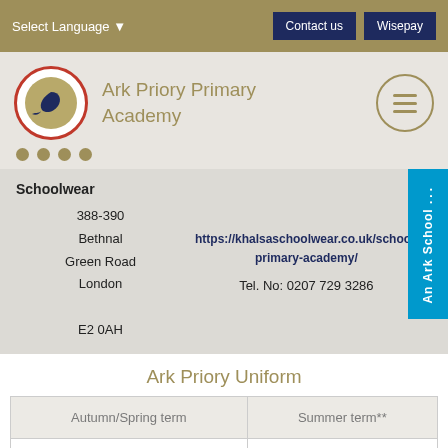Select Language ▾    Contact us    Wisepay
[Figure (logo): Ark Priory Primary Academy logo: bird silhouette in red circle, school name in gold, hamburger menu circle]
Schoolwear
388-390
Bethnal
Green Road
London
E2 0AH
https://khalsaschoolwear.co.uk/school/primary-academy/
Tel. No: 0207 729 3286
An Ark School
Ark Priory Uniform
| Autumn/Spring term | Summer term** |
| --- | --- |
|  |  |